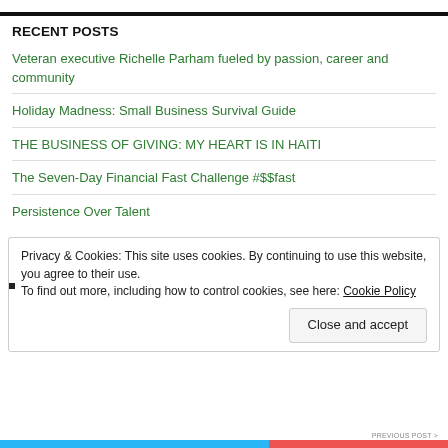RECENT POSTS
Veteran executive Richelle Parham fueled by passion, career and community
Holiday Madness: Small Business Survival Guide
THE BUSINESS OF GIVING: MY HEART IS IN HAITI
The Seven-Day Financial Fast Challenge #$$fast
Persistence Over Talent
Privacy & Cookies: This site uses cookies. By continuing to use this website, you agree to their use. To find out more, including how to control cookies, see here: Cookie Policy
Close and accept